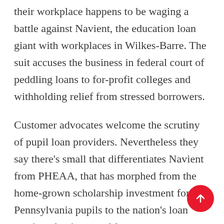their workplace happens to be waging a battle against Navient, the education loan giant with workplaces in Wilkes-Barre. The suit accuses the business in federal court of peddling loans to for-profit colleges and withholding relief from stressed borrowers.
Customer advocates welcome the scrutiny of pupil loan providers. Nevertheless they say there's small that differentiates Navient from PHEAA, that has morphed from the home-grown scholarship investment for Pennsylvania pupils to the nation's loan servicer that is second-largest.
“In our experience, the exact same types of claims being brought against Navient could similarly be brought against PHEAA, ” said
[Figure (other): Red circular FAB (floating action button) with an upward arrow icon, positioned at lower right]